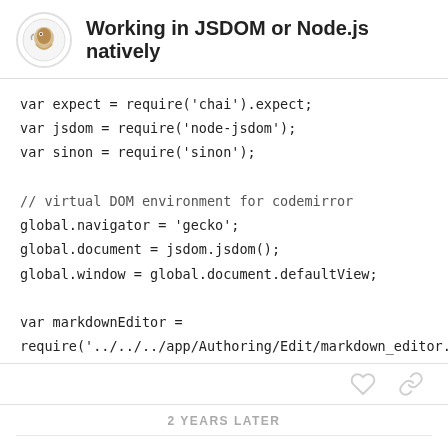Working in JSDOM or Node.js natively
var expect = require('chai').expect;
var jsdom = require('node-jsdom');
var sinon = require('sinon');

// virtual DOM environment for codemirror
global.navigator = 'gecko';
global.document = jsdom.jsdom();
global.window = global.document.defaultView;

var markdownEditor =
require('../../../app/Authoring/Edit/markdown_editor.js');
2 YEARS LATER
KoulSlou
4 / 11